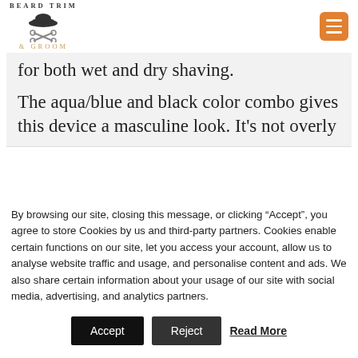BEARD TRIM & GROOM
for both wet and dry shaving.
The aqua/blue and black color combo gives this device a masculine look. It’s not overly
By browsing our site, closing this message, or clicking “Accept”, you agree to store Cookies by us and third-party partners. Cookies enable certain functions on our site, let you access your account, allow us to analyse website traffic and usage, and personalise content and ads. We also share certain information about your usage of our site with social media, advertising, and analytics partners.
Accept | Reject | Read More